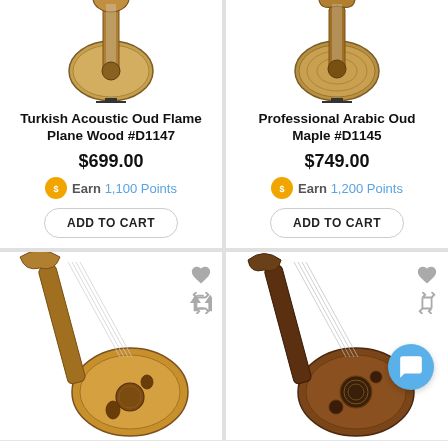[Figure (photo): Turkish Acoustic Oud Flame Plane Wood instrument photo, top-left product card]
Turkish Acoustic Oud Flame Plane Wood #D1147
$699.00
Earn 1,100 Points
[Figure (photo): Professional Arabic Oud Maple instrument photo, top-right product card]
Professional Arabic Oud Maple #D1145
$749.00
Earn 1,200 Points
[Figure (photo): Oud instrument photo, bottom-left product card, partially visible]
[Figure (photo): Oud instrument photo, bottom-right product card, partially visible]
Bottom navigation bar with home, search, cart (0), account, and more icons